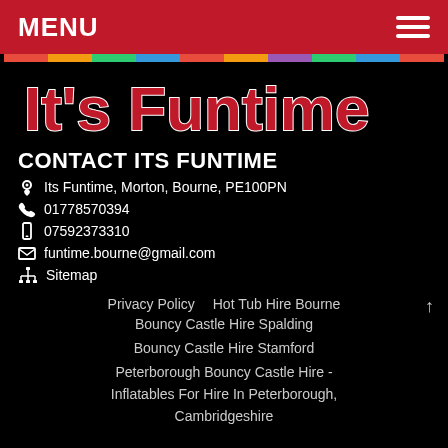MENU
[Figure (logo): It's Funtime logo in red decorative font with colorful border on black background]
CONTACT ITS FUNTIME
Its Funtime, Morton, Bourne, PE100PN
01778570394
07592373310
funtime.bourne@gmail.com
Sitemap
Privacy Policy
Hot Tub Hire Bourne
Bouncy Castle Hire Spalding
Bouncy Castle Hire Stamford
Peterborough Bouncy Castle Hire - Inflatables For Hire In Peterborough, Cambridgeshire